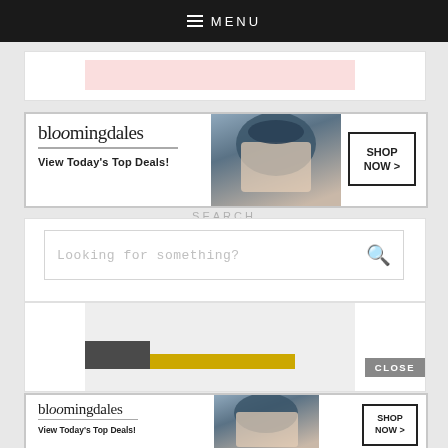MENU
[Figure (screenshot): Pink/rose colored banner strip partially visible]
[Figure (screenshot): Bloomingdale's advertisement banner: logo, 'View Today's Top Deals!', fashion model with wide brim hat, SHOP NOW > button]
SEARCH
Looking for something?
[Figure (screenshot): Content card with gray placeholder area and close button, yellow bar, dark strip]
[Figure (screenshot): Bloomingdale's advertisement banner bottom: logo, 'View Today's Top Deals!', fashion model with wide brim hat, SHOP NOW > button]